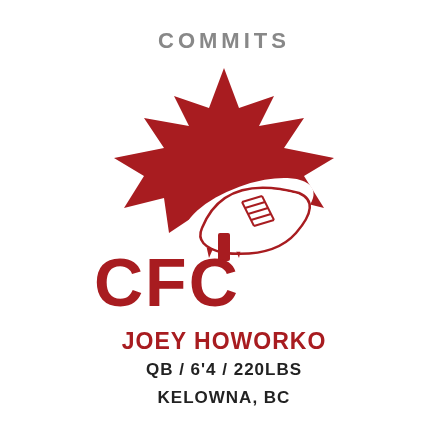COMMITS
[Figure (logo): CFC (Canadian Football Community) logo: a red Canadian maple leaf with a football overlaid, and large red block letters 'CFC' below the leaf.]
JOEY HOWORKO
QB / 6'4 / 220LBS
KELOWNA, BC